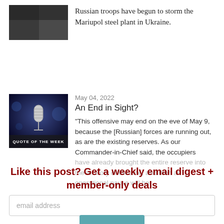[Figure (photo): Dark thumbnail image placeholder for article about Russian troops storming Mariupol steel plant]
Russian troops have begun to storm the Mariupol steel plant in Ukraine.
[Figure (photo): Quote of the Week thumbnail: microphone on blue background with text 'QUOTE OF THE WEEK']
May 04, 2022
An End in Sight?
“This offensive may end on the eve of May 9, because the [Russian] forces are running out, as are the existing reserves. As our Commander-in-Chief said, the occupiers have already brought the entire reserve into the territory of Ukraine, and then an operational pause will be
Like this post? Get a weekly email digest + member-only deals
email address